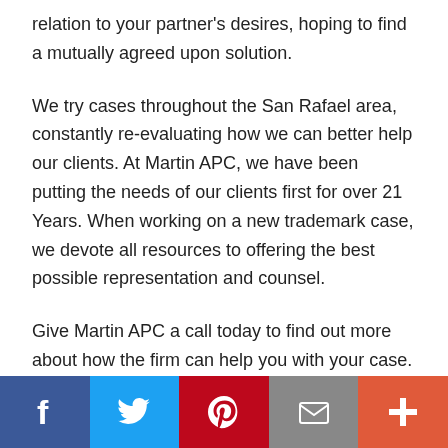relation to your partner's desires, hoping to find a mutually agreed upon solution.
We try cases throughout the San Rafael area, constantly re-evaluating how we can better help our clients. At Martin APC, we have been putting the needs of our clients first for over 21 Years. When working on a new trademark case, we devote all resources to offering the best possible representation and counsel.
Give Martin APC a call today to find out more about how the firm can help you with your case. Martin APC has helped
Social share bar: Facebook, Twitter, Pinterest, Email, More